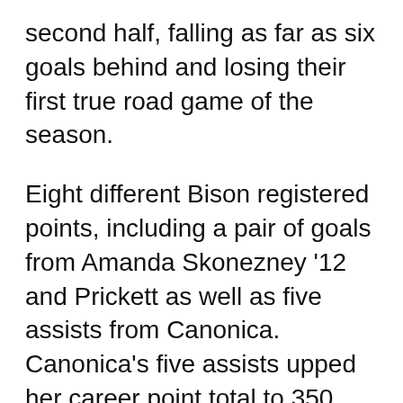second half, falling as far as six goals behind and losing their first true road game of the season.
Eight different Bison registered points, including a pair of goals from Amanda Skonezney '12 and Prickett as well as five assists from Canonica. Canonica's five assists upped her career point total to 350. Canonica currently sits in third place on the University's all-time scoring list; one behind Meagan Gins '11 and eight behind record holder Aubrey Rowe '11.
Said new head coach Paul Rave, “Like I told our women, though we are capable of being more dominant, sometimes it’s better to come away seeing how much potential still remains to be